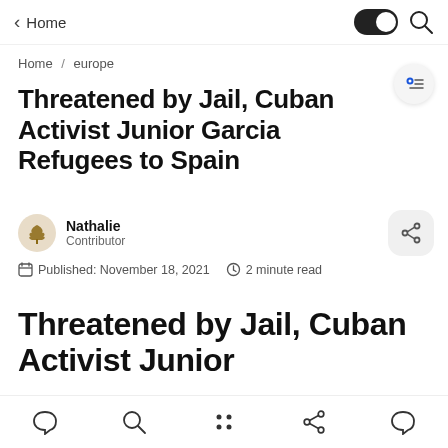Home
Home / europe
Threatened by Jail, Cuban Activist Junior Garcia Refugees to Spain
Nathalie
Contributor
Published: November 18, 2021   2 minute read
Threatened by Jail, Cuban Activist Junior